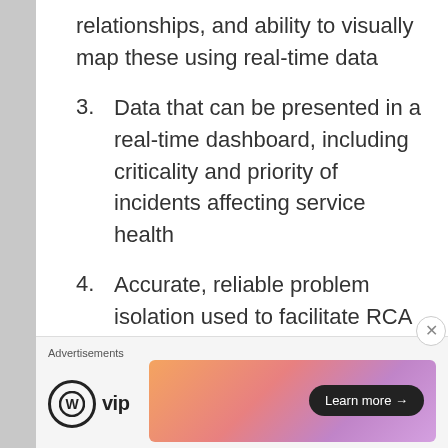relationships, and ability to visually map these using real-time data
3. Data that can be presented in a real-time dashboard, including criticality and priority of incidents affecting service health
4. Accurate, reliable problem isolation used to facilitate RCA and troubleshooting
5. Business continuity and disaster
Advertisements